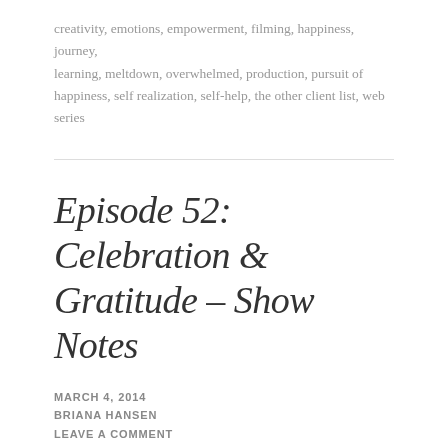creativity, emotions, empowerment, filming, happiness, journey, learning, meltdown, overwhelmed, production, pursuit of happiness, self realization, self-help, the other client list, web series
Episode 52: Celebration & Gratitude – Show Notes
MARCH 4, 2014
BRIANA HANSEN
LEAVE A COMMENT
Episode 52 of the revamped Femoir: The Podcast is available now (subscribe for free on iTunes!).